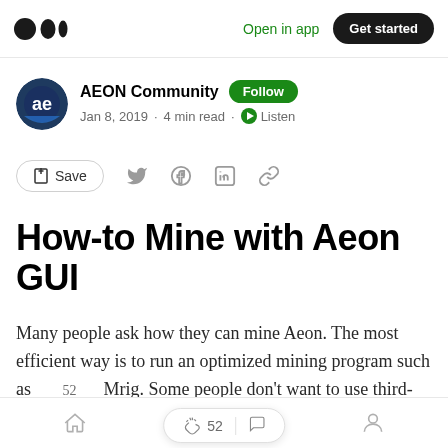Open in app  Get started
AEON Community  Follow
Jan 8, 2019 · 4 min read · Listen
Save
How-to Mine with Aeon GUI
Many people ask how they can mine Aeon. The most efficient way is to run an optimized mining program such as    52       Mrig. Some people don't want to use third-party mining
Home  Search  Profile